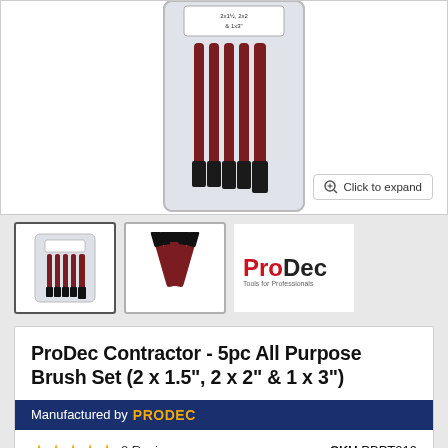[Figure (photo): Main product photo showing ProDec Contractor 5pc All Purpose Brush Set in clear plastic packaging, partially cropped at top. Label reads '2x1½, 2x2 & 1x3'. Expand button visible bottom right.]
[Figure (photo): Thumbnail 1 (selected): Same brush set in packaging, small view.]
[Figure (photo): Thumbnail 2: Five brushes fanned out, black bristles with dark red handles, no packaging.]
[Figure (logo): ProDec logo - red and black text 'ProDec' with tagline 'Tools for Professionals'.]
ProDec Contractor - 5pc All Purpose Brush Set (2 x 1.5", 2 x 2" & 1 x 3")
Manufactured by PRODEC
★★★★★ 8 Reviews   SKU PBPT019